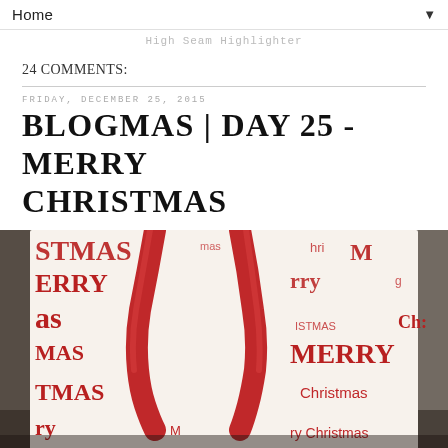Home ▼
High Seam Highlighter
24 COMMENTS:
FRIDAY, DECEMBER 25, 2015
BLOGMAS | DAY 25 - MERRY CHRISTMAS
[Figure (photo): A Christmas gift bag with red ribbon handles, covered with red and white Merry Christmas text pattern in various fonts and sizes.]